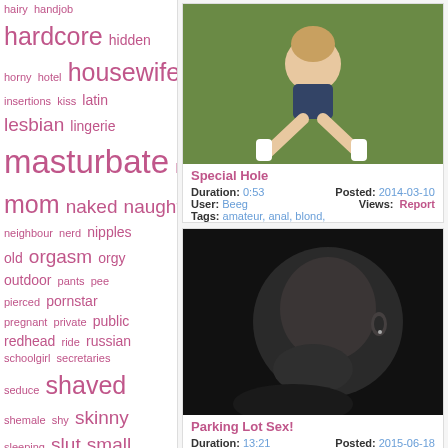hairy handjob hardcore hidden horny hotel housewife insertions kiss latin lesbian lingerie masturbate mature mom naked naughty neighbour nerd nipples old orgasm orgy outdoor pants pee pierced pornstar pregnant private public redhead ride russian schoolgirl secretaries seduce shaved shemale shy skinny sleeping slut small solo spy squirt strip stupid swinger tatoo teasing teen threesome undressing upskirt virgin voyeur webcam
[Figure (photo): Thumbnail image of a girl sitting on grass wearing white knee-high socks]
Special Hole
Duration: 0:53   Posted: 2014-03-10
User: Beeg   Views:   Report
Tags: amateur, anal, blond,
[Figure (photo): Dark grayscale close-up thumbnail of a face in profile]
Parking Lot Sex!
Duration: 13:21   Posted: 2015-06-18